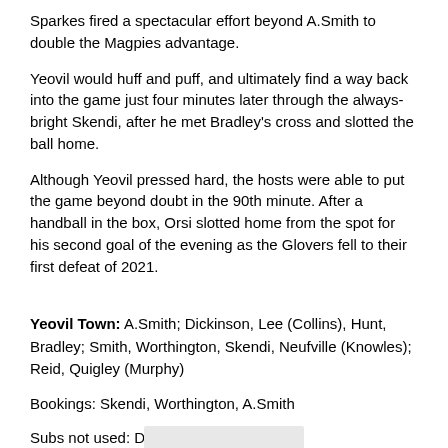Sparkes fired a spectacular effort beyond A.Smith to double the Magpies advantage.
Yeovil would huff and puff, and ultimately find a way back into the game just four minutes later through the always-bright Skendi, after he met Bradley's cross and slotted the ball home.
Although Yeovil pressed hard, the hosts were able to put the game beyond doubt in the 90th minute. After a handball in the box, Orsi slotted home from the spot for his second goal of the evening as the Glovers fell to their first defeat of 2021.
Yeovil Town: A.Smith; Dickinson, Lee (Collins), Hunt, Bradley; Smith, Worthington, Skendi, Neufville (Knowles); Reid, Quigley (Murphy)
Bookings: Skendi, Worthington, A.Smith
Subs not used: Dagnall, Kelly